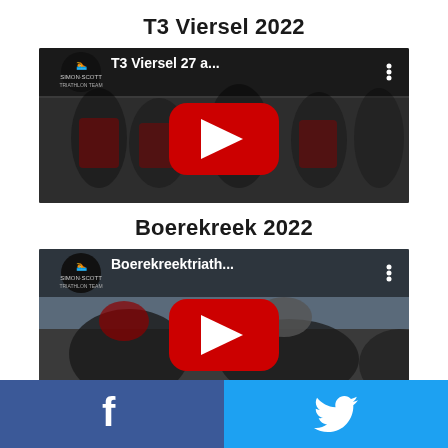T3 Viersel 2022
[Figure (screenshot): YouTube video thumbnail for 'T3 Viersel 27 a...' showing athletes in triathlon gear with Simon-Scott Triathlon Team logo and red YouTube play button]
Boerekreek 2022
[Figure (screenshot): YouTube video thumbnail for 'Boerekreektriath...' showing swimmers in swim caps with Simon-Scott Triathlon Team logo and red YouTube play button]
Facebook | Twitter